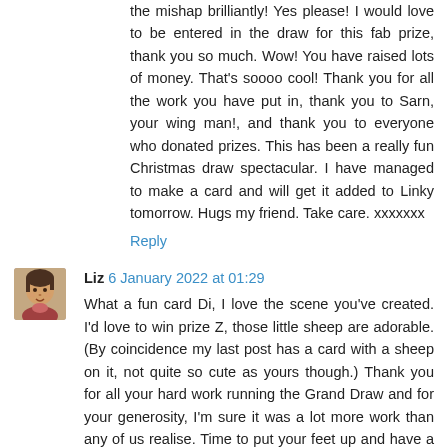the mishap brilliantly! Yes please! I would love to be entered in the draw for this fab prize, thank you so much. Wow! You have raised lots of money. That's soooo cool! Thank you for all the work you have put in, thank you to Sarn, your wing man!, and thank you to everyone who donated prizes. This has been a really fun Christmas draw spectacular. I have managed to make a card and will get it added to Linky tomorrow. Hugs my friend. Take care. xxxxxxx
Reply
[Figure (photo): Avatar photo of commenter Liz, a person with short dark hair]
Liz 6 January 2022 at 01:29
What a fun card Di, I love the scene you've created. I'd love to win prize Z, those little sheep are adorable. (By coincidence my last post has a card with a sheep on it, not quite so cute as yours though.) Thank you for all your hard work running the Grand Draw and for your generosity, I'm sure it was a lot more work than any of us realise. Time to put your feet up and have a glass of wine or two. Looking forward to seeing the new blog. ☺ xx